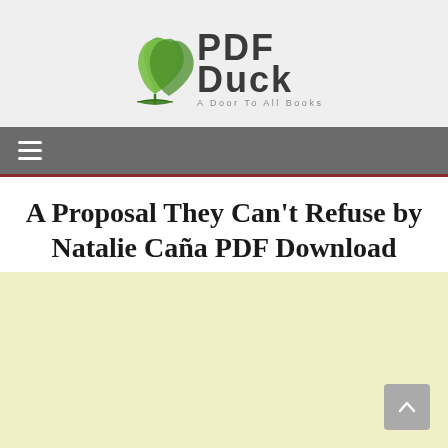[Figure (logo): PDF Duck logo — green leaf book icon with 'PDF Duck' text and tagline 'A Door To All Books']
≡
A Proposal They Can't Refuse by Natalie Caña PDF Download
💬 0 COMMENTS